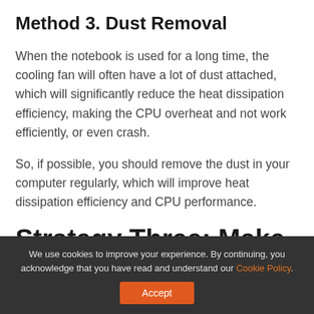Method 3. Dust Removal
When the notebook is used for a long time, the cooling fan will often have a lot of dust attached, which will significantly reduce the heat dissipation efficiency, making the CPU overheat and not work efficiently, or even crash.
So, if possible, you should remove the dust in your computer regularly, which will improve heat dissipation efficiency and CPU performance.
Strategy Three: Make
We use cookies to improve your experience. By continuing, you acknowledge that you have read and understand our Cookie Policy.
Accept